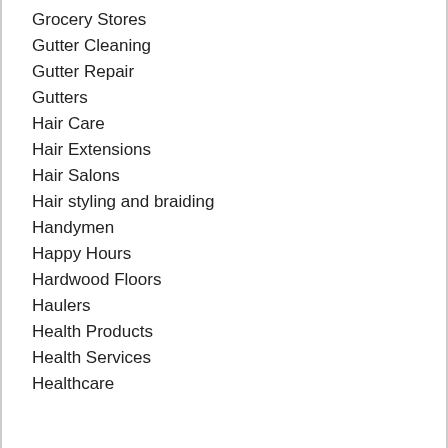Grocery Stores
Gutter Cleaning
Gutter Repair
Gutters
Hair Care
Hair Extensions
Hair Salons
Hair styling and braiding
Handymen
Happy Hours
Hardwood Floors
Haulers
Health Products
Health Services
Healthcare